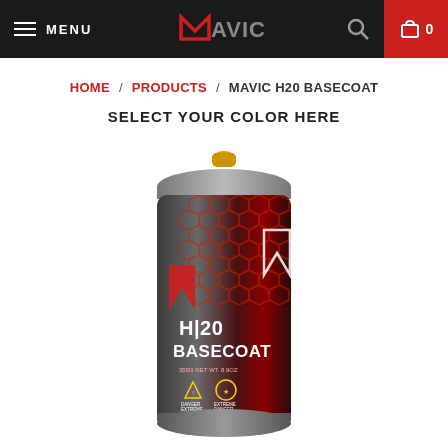MENU | MAVIC | [search] | 0
HOME / PRODUCTS / MAVIC H20 BASECOAT
SELECT YOUR COLOR HERE
[Figure (photo): Mavic H20 Basecoat aerosol spray can with dark red hexagonal pattern label, showing H20 BASECOAT text, 350G NET WT, 8.9OZ, with warning symbols at the bottom. Silver top with yellow nozzle.]